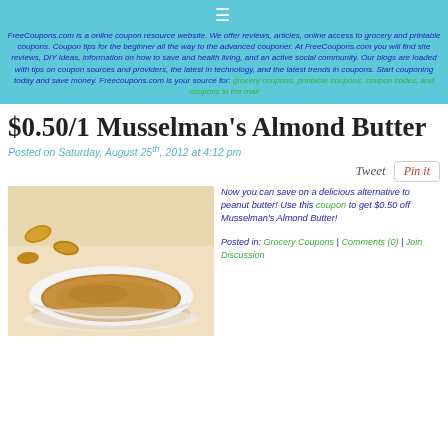≡
FreeCoupons.com is a online coupon resource website. We offer reviews, articles, online access to grocery and printable coupons. Coupon tips for the beginner all the way to the advanced couponer. At FreeCoupons.com you will find site reviews, DIY ideas, information on how to save and health living, and an active social community. Our blogs are loaded with tips on coupon sources and providers, the latest in technology, and the latest trends in coupons. Start couponing today and save money. Freecoupons.com is your source for: grocery coupons, printable coupons, coupon codes, and coupons in the mail
$0.50/1 Musselman's Almond Butter
Posted on Saturday, August 25th, 2012 at 4:12 pm
Tweet
[Figure (photo): A bowl of almond butter with almonds on a white surface]
Now you can save on a delicious alternative to peanut butter! Use this coupon to get $0.50 off Musselman's Almond Butter!
Posted in: Grocery Coupons | Comments (0) | Join Discussion